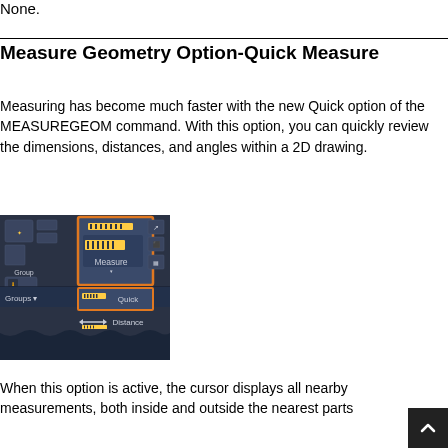None.
Measure Geometry Option-Quick Measure
Measuring has become much faster with the new Quick option of the MEASUREGEOM command. With this option, you can quickly review the dimensions, distances, and angles within a 2D drawing.
[Figure (screenshot): AutoCAD ribbon panel showing the Measure dropdown with 'Measure' button highlighted in orange, and 'Quick' option highlighted in orange below it, with 'Distance' option visible beneath.]
When this option is active, the cursor displays all nearby measurements, both inside and outside the nearest parts